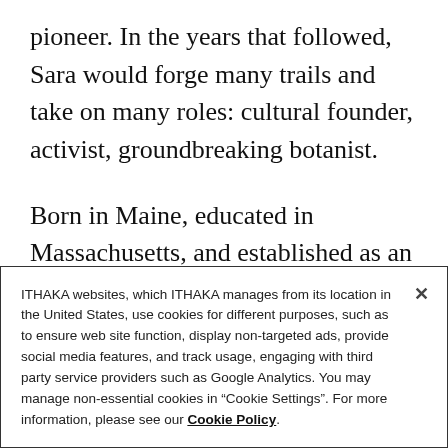pioneer. In the years that followed, Sara would forge many trails and take on many roles: cultural founder, activist, groundbreaking botanist.
Born in Maine, educated in Massachusetts, and established as an art teacher in New York City, Sara was driven to emigrate by a bout of bad health. When a friend told her about how a trip
ITHAKA websites, which ITHAKA manages from its location in the United States, use cookies for different purposes, such as to ensure web site function, display non-targeted ads, provide social media features, and track usage, engaging with third party service providers such as Google Analytics. You may manage non-essential cookies in “Cookie Settings”. For more information, please see our Cookie Policy.